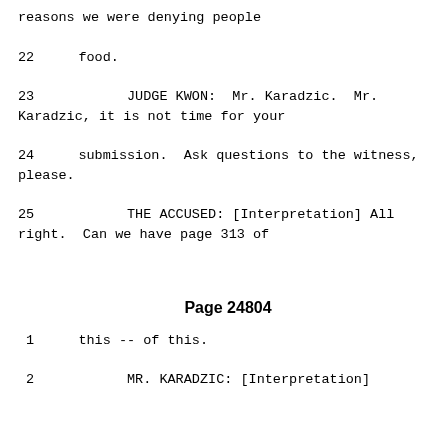reasons we were denying people
22    food.
23          JUDGE KWON:  Mr. Karadzic.  Mr. Karadzic, it is not time for your
24    submission.  Ask questions to the witness, please.
25          THE ACCUSED: [Interpretation] All right.  Can we have page 313 of
Page 24804
1     this -- of this.
2           MR. KARADZIC: [Interpretation]